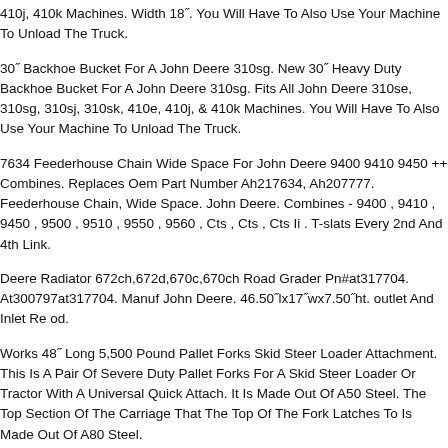410j, 410k Machines. Width 18". You Will Have To Also Use Your Machine To Unload The Truck.
30" Backhoe Bucket For A John Deere 310sg. New 30" Heavy Duty Backhoe Bucket For A John Deere 310sg. Fits All John Deere 310se, 310sg, 310sj, 310sk, 410e, 410j, & 410k Machines. You Will Have To Also Use Your Machine To Unload The Truck.
7634 Feederhouse Chain Wide Space For John Deere 9400 9410 9450 ++ Combines. Replaces Oem Part Number Ah217634, Ah207777. Feederhouse Chain, Wide Space. John Deere. Combines - 9400 , 9410 , 9450 , 9500 , 9510 , 9550 , 9560 , Cts , Cts , Cts Ii . T-slats Every 2nd And 4th Link.
Deere Radiator 672ch,672d,670c,670ch Road Grader Pn#at317704. At300797at317704. Manuf John Deere. 46.50"lx17"wx7.50"ht. outlet And Inlet Re od.
Works 48" Long 5,500 Pound Pallet Forks Skid Steer Loader Attachment. This Is A Pair Of Severe Duty Pallet Forks For A Skid Steer Loader Or Tractor With A Universal Quick Attach. It Is Made Out Of A50 Steel. The Top Section Of The Carriage That The Top Of The Fork Latches To Is Made Out Of A80 Steel.
TURBO TURBOCHARGER FOR JOHN